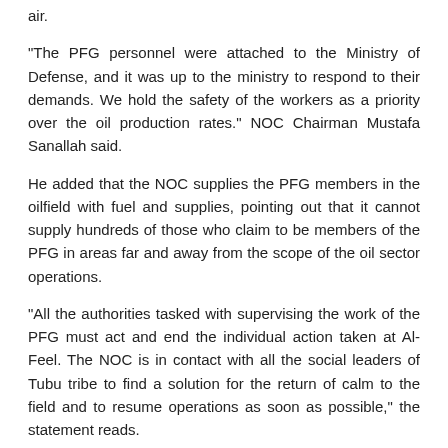air.
"The PFG personnel were attached to the Ministry of Defense, and it was up to the ministry to respond to their demands. We hold the safety of the workers as a priority over the oil production rates." NOC Chairman Mustafa Sanallah said.
He added that the NOC supplies the PFG members in the oilfield with fuel and supplies, pointing out that it cannot supply hundreds of those who claim to be members of the PFG in areas far and away from the scope of the oil sector operations.
"All the authorities tasked with supervising the work of the PFG must act and end the individual action taken at Al-Feel. The NOC is in contact with all the social leaders of Tubu tribe to find a solution for the return of calm to the field and to resume operations as soon as possible," the statement reads.
Al-Feel oilfield produces over 70.000 bpd out of its 100.000 bpd capacity. Its production has been recently hindered by PFG members' protests.